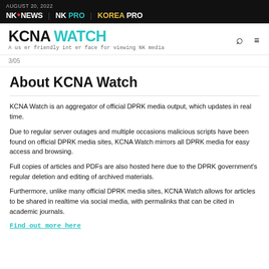AUGUST 20, 2022 | NK NEWS | NK PRO | KOREA PRO
KCNA WATCH — A user friendly interface for viewing NK media
3/05
About KCNA Watch
KCNA Watch is an aggregator of official DPRK media output, which updates in real time.
Due to regular server outages and multiple occasions malicious scripts have been found on official DPRK media sites, KCNA Watch mirrors all DPRK media for easy access and browsing.
Full copies of articles and PDFs are also hosted here due to the DPRK government's regular deletion and editing of archived materials.
Furthermore, unlike many official DPRK media sites, KCNA Watch allows for articles to be shared in realtime via social media, with permalinks that can be cited in academic journals.
Find out more here